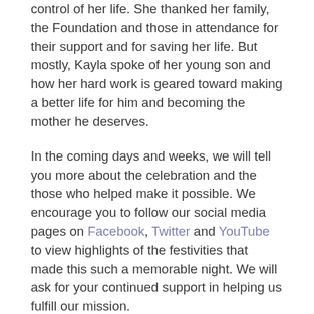control of her life. She thanked her family, the Foundation and those in attendance for their support and for saving her life. But mostly, Kayla spoke of her young son and how her hard work is geared toward making a better life for him and becoming the mother he deserves.
In the coming days and weeks, we will tell you more about the celebration and the those who helped make it possible. We encourage you to follow our social media pages on Facebook, Twitter and YouTube to view highlights of the festivities that made this such a memorable night. We will ask for your continued support in helping us fulfill our mission.
For the time being, we simply ask you to remember Kayla. Her story is an inspiration to